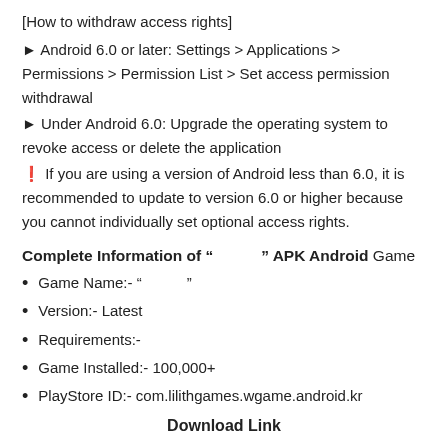[How to withdraw access rights]
► Android 6.0 or later: Settings > Applications > Permissions > Permission List > Set access permission withdrawal
► Under Android 6.0: Upgrade the operating system to revoke access or delete the application
※ If you are using a version of Android less than 6.0, it is recommended to update to version 6.0 or higher because you cannot individually set optional access rights.
Complete Information of "   " APK Android Game
Game Name:- "   "
Version:- Latest
Requirements:-
Game Installed:- 100,000+
PlayStore ID:- com.lilithgames.wgame.android.kr
Download Link